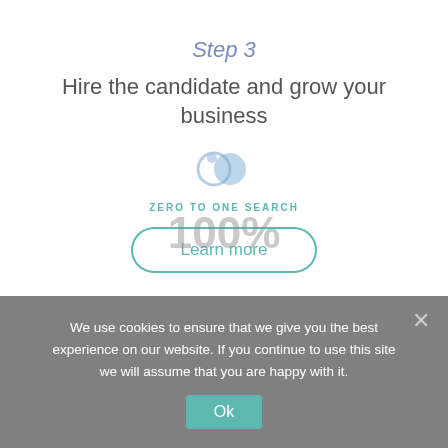Step 3
Hire the candidate and grow your business
[Figure (logo): Zero to One Search logo with two overlapping circles (blue tones)]
ZERO TO ONE SEARCH
Learn more
[Figure (infographic): 100% progress loading indicator overlaid on the page content]
We use cookies to ensure that we give you the best experience on our website. If you continue to use this site we will assume that you are happy with it.
Ok